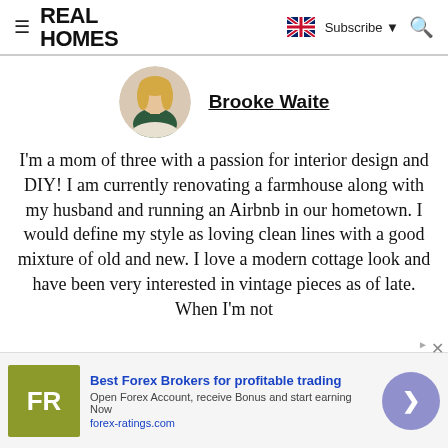REAL HOMES
Brooke Waite
[Figure (photo): Circular profile photo of Brooke Waite, a blonde woman seated]
I'm a mom of three with a passion for interior design and DIY! I am currently renovating a farmhouse along with my husband and running an Airbnb in our hometown. I would define my style as loving clean lines with a good mixture of old and new. I love a modern cottage look and have been very interested in vintage pieces as of late. When I'm not
[Figure (screenshot): Advertisement banner: Best Forex Brokers for profitable trading. Open Forex Account, receive Bonus and start earning Now. forex-ratings.com. FR logo in olive/green square, purple circle with arrow button.]